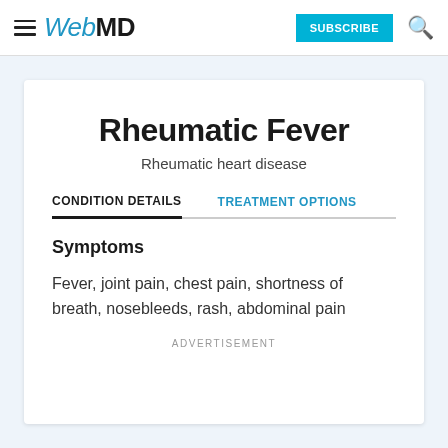WebMD | SUBSCRIBE
Rheumatic Fever
Rheumatic heart disease
CONDITION DETAILS   TREATMENT OPTIONS
Symptoms
Fever, joint pain, chest pain, shortness of breath, nosebleeds, rash, abdominal pain
ADVERTISEMENT